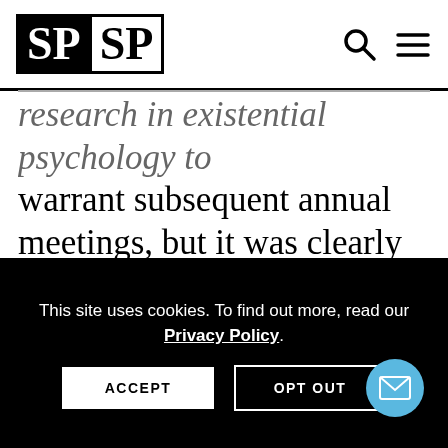SPSP
research in existential psychology to warrant subsequent annual meetings, but it was clearly an important event in the history of existential psychology as it opened so many doors for later generations of researchers interested in better understanding the human
This site uses cookies. To find out more, read our Privacy Policy.
ACCEPT
OPT OUT